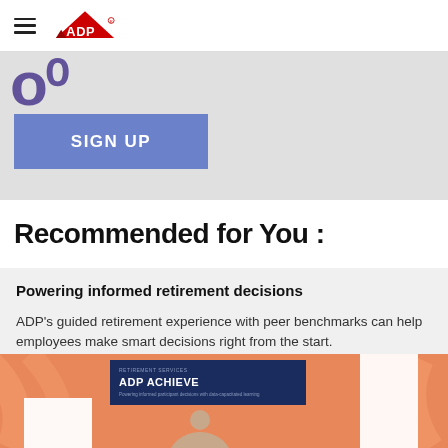ADP navigation header with hamburger menu and ADP logo
[Figure (screenshot): Gray banner section with partial purple decorative text and a blue 'SIGN UP' button]
Recommended for You :
Powering informed retirement decisions
ADP's guided retirement experience with peer benchmarks can help employees make smart decisions right from the start.
[Figure (photo): ADP Achieve retirement services card on orange illustrated background with document mockups and a person's image at the bottom]